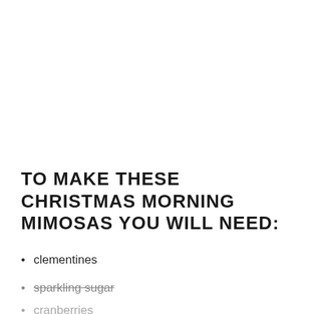TO MAKE THESE CHRISTMAS MORNING MIMOSAS YOU WILL NEED:
clementines
sparkling sugar
cranberries